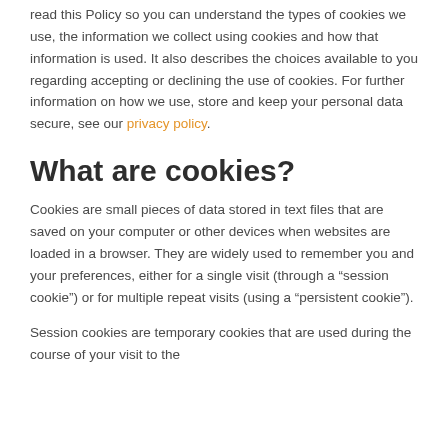read this Policy so you can understand the types of cookies we use, the information we collect using cookies and how that information is used. It also describes the choices available to you regarding accepting or declining the use of cookies. For further information on how we use, store and keep your personal data secure, see our privacy policy.
What are cookies?
Cookies are small pieces of data stored in text files that are saved on your computer or other devices when websites are loaded in a browser. They are widely used to remember you and your preferences, either for a single visit (through a “session cookie”) or for multiple repeat visits (using a “persistent cookie”).
Session cookies are temporary cookies that are used during the course of your visit to the